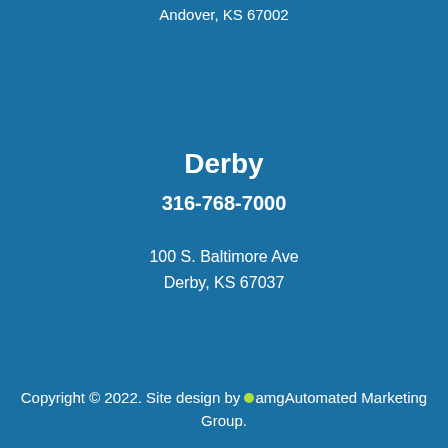Andover, KS 67002
Derby
316-768-7000
100 S. Baltimore Ave
Derby, KS 67037
Copyright © 2022. Site design by •amgAutomated Marketing Group.